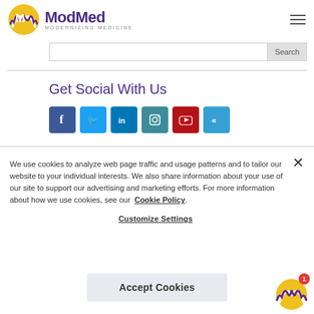[Figure (logo): ModMed (Modernizing Medicine) logo with gold/purple circular icon and purple text]
Search
Get Social With Us
[Figure (illustration): Row of social media icons: Facebook (blue), Twitter (light blue), LinkedIn (blue), Instagram (teal), YouTube (red), and one more (light blue)]
We use cookies to analyze web page traffic and usage patterns and to tailor our website to your individual interests. We also share information about your use of our site to support our advertising and marketing efforts. For more information about how we use cookies, see our Cookie Policy.
Customize Settings
Accept Cookies